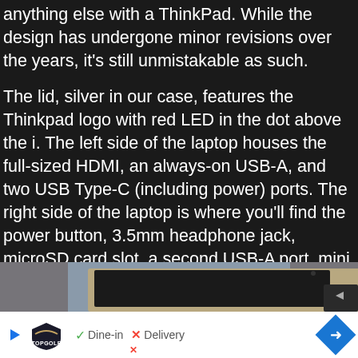anything else with a ThinkPad. While the design has undergone minor revisions over the years, it's still unmistakable as such.

The lid, silver in our case, features the Thinkpad logo with red LED in the dot above the i. The left side of the laptop houses the full-sized HDMI, an always-on USB-A, and two USB Type-C (including power) ports. The right side of the laptop is where you'll find the power button, 3.5mm headphone jack, microSD card slot, a second USB-A port, mini RJ-45 Gigabit Ethernet port, and Kensington lock slot.
[Figure (photo): Photo of a silver ThinkPad laptop open on a gray fabric surface, partially visible from above]
[Figure (other): Advertisement bar: TopGolf logo with play button, dine-in checkmark and delivery X options, navigation arrow diamond button]